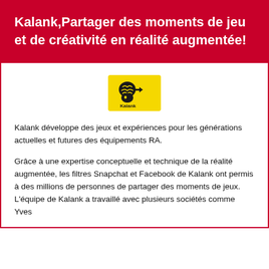Kalank,Partager des moments de jeu et de créativité en réalité augmentée!
[Figure (logo): Kalank logo: yellow rectangle with a stylized face/brain graphic and the word 'Kalank']
Kalank développe des jeux et expériences pour les générations actuelles et futures des équipements RA.
Grâce à une expertise conceptuelle et technique de la réalité augmentée, les filtres Snapchat et Facebook de Kalank ont permis à des millions de personnes de partager des moments de jeux. L'équipe de Kalank a travaillé avec plusieurs sociétés comme Yves